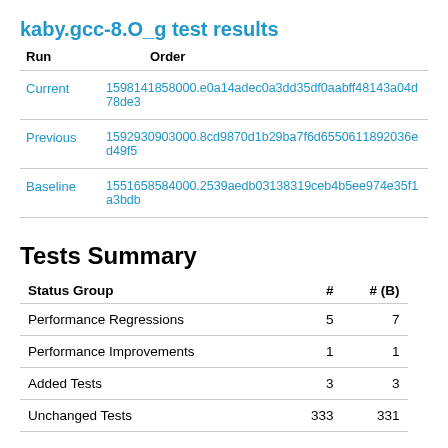kaby.gcc-8.O_g test results
| Run | Order |
| --- | --- |
| Current | 1598141858000.e0a14adec0a3dd35df0aabff48143a04d78de3 |
| Previous | 1592930903000.8cd9870d1b29ba7f6d6550611892036ed49f5 |
| Baseline | 1551658584000.2539aedb03138319ceb4b5ee974e35f1a3bdb |
Tests Summary
| Status Group | # | # (B) |
| --- | --- | --- |
| Performance Regressions | 5 | 7 |
| Performance Improvements | 1 | 1 |
| Added Tests | 3 | 3 |
| Unchanged Tests | 333 | 331 |